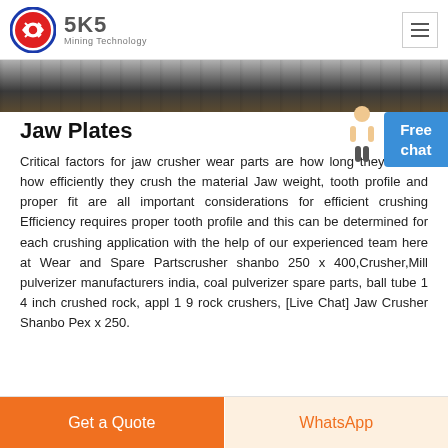[Figure (logo): SKS Mining Technology logo with circular red and blue emblem and brand name]
[Figure (photo): Dark industrial banner image showing mining/crushing machinery]
Jaw Plates
Critical factors for jaw crusher wear parts are how long they last and how efficiently they crush the material Jaw weight, tooth profile and proper fit are all important considerations for efficient crushing Efficiency requires proper tooth profile and this can be determined for each crushing application with the help of our experienced team here at Wear and Spare Partscrusher shanbo 250 x 400,Crusher,Mill pulverizer manufacturers india, coal pulverizer spare parts, ball tube 14 inch crushed rock, appl19 rock crushers, [Live Chat] Jaw Crusher Shanbo Pex x 250.
[Figure (other): Free chat button widget in blue]
[Figure (illustration): Customer service representative character image]
Get a Quote
WhatsApp